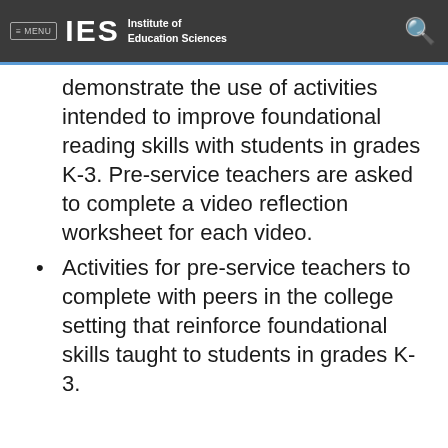≡ MENU  IES  Institute of Education Sciences
demonstrate the use of activities intended to improve foundational reading skills with students in grades K-3. Pre-service teachers are asked to complete a video reflection worksheet for each video.
Activities for pre-service teachers to complete with peers in the college setting that reinforce foundational skills taught to students in grades K-3.